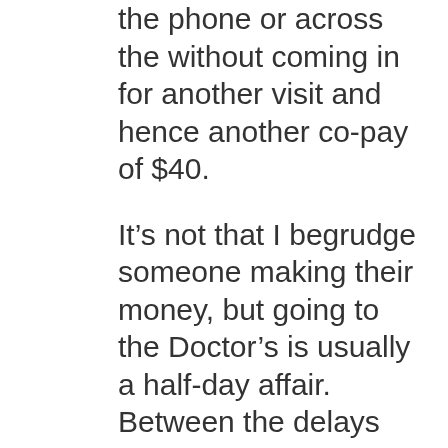the phone or across the without coming in for another visit and hence another co-pay of $40.
It’s not that I begrudge someone making their money, but going to the Doctor’s is usually a half-day affair.   Between the delays after I get to the waiting room, or my travel time. (it’s not particularly convenient)
Most recently, bloodwork I had done in late January 2020 came back with a “blip”.   Then COVID happened, and I couldn’t get an